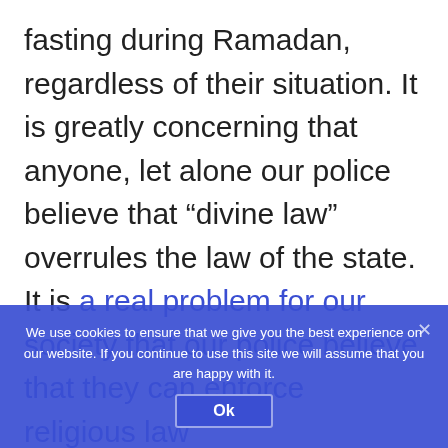fasting during Ramadan, regardless of their situation. It is greatly concerning that anyone, let alone our police believe that “divine law” overrules the law of the state. It is a real problem for our society that our police believe that they can enforce religious law
We use cookies to ensure that we give you the best experience on our website. If you continue to use this site we will assume that you are happy with it. Ok